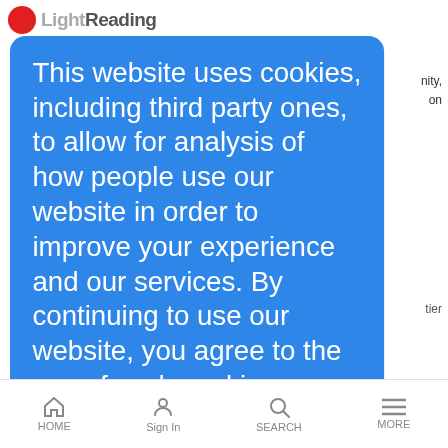Light Reading
nity,
on
tier
This website uses cookies, including third party ones, to allow for analysis of how people use our website in order to improve your experience and our services. By continuing to use our website, you agree to the use of such cookies. Click here for more info
I Agree
0, but
...ready to pull the trigger on speedier cable modem services
'Tipping Point'
Contentinople  |  5/12/2009
3:30 PM Akamai CEO claims we've reached it for online video
PSNI Loses Rural Appeal
HOME  Sign In  SEARCH  MORE